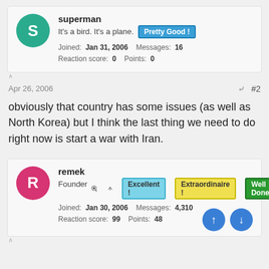superman
It's a bird. It's a plane. Pretty Good!
Joined: Jan 31, 2006  Messages: 16  Reaction score: 0  Points: 0
Apr 26, 2006  #2
obviously that country has some issues (as well as North Korea) but I think the last thing we need to do right now is start a war with Iran.
remek
Founder  Excellent!  Extraordinaire!  Well Done!
Joined: Jan 30, 2006  Messages: 4,310  Reaction score: 99  Points: 48